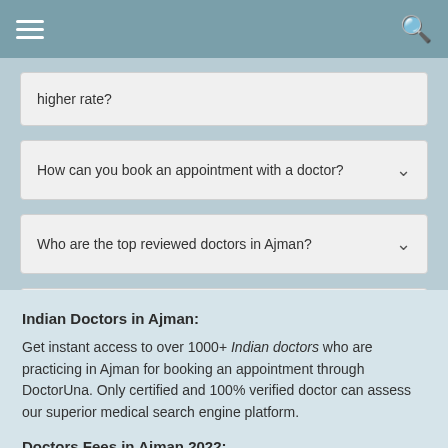Menu / Search
higher rate?
How can you book an appointment with a doctor?
Who are the top reviewed doctors in Ajman?
Which experienced doctors are available today?
Indian Doctors in Ajman:
Get instant access to over 1000+ Indian doctors who are practicing in Ajman for booking an appointment through DoctorUna. Only certified and 100% verified doctor can assess our superior medical search engine platform.
Doctors Fees in Ajman 2022:
Doctors fees may vary from one clinic to the other. The fees